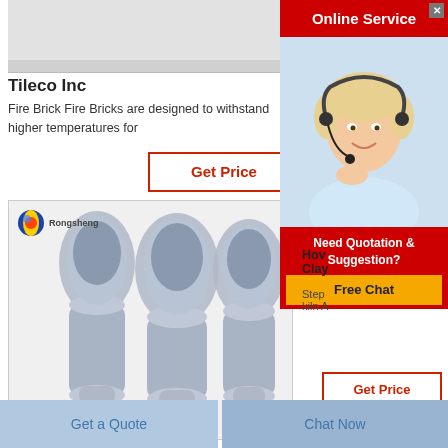[Figure (photo): Top gray product image area (partially visible)]
Tileco Inc
Fire Brick Fire Bricks are designed to withstand higher temperatures for
Get Price
[Figure (photo): Three gray/blue vase-shaped containers filled with gray material, Rongsheng brand logo visible in upper left]
[Figure (photo): Online Service popup with woman wearing headset, red header bar, and 'Need Quotation & Suggestion? Free Chat' overlay]
Hov Clay
Step kiln A
Get Price
Get a Quote
Chat Now